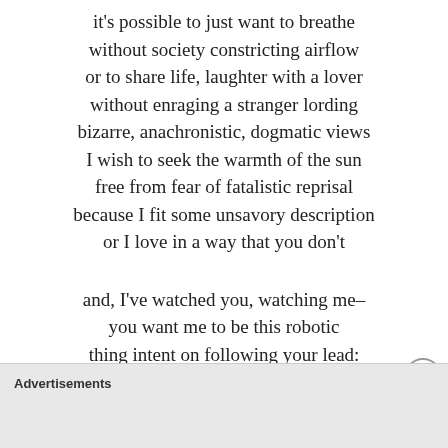it's possible to just want to breathe without society constricting airflow or to share life, laughter with a lover without enraging a stranger lording bizarre, anachronistic, dogmatic views I wish to seek the warmth of the sun free from fear of fatalistic reprisal because I fit some unsavory description or I love in a way that you don't

and, I've watched you, watching me– you want me to be this robotic thing intent on following your lead: no disputes, no disagreements, and no opinion of my own,
Advertisements